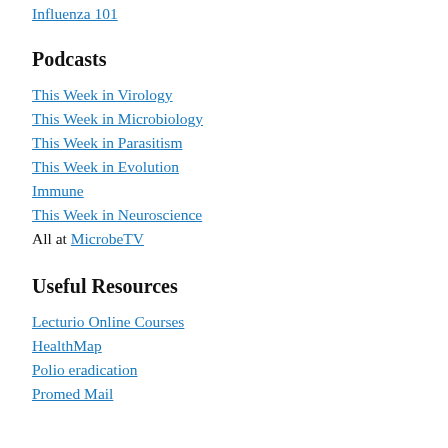Influenza 101
Podcasts
This Week in Virology
This Week in Microbiology
This Week in Parasitism
This Week in Evolution
Immune
This Week in Neuroscience
All at MicrobeTV
Useful Resources
Lecturio Online Courses
HealthMap
Polio eradication
Promed Mail